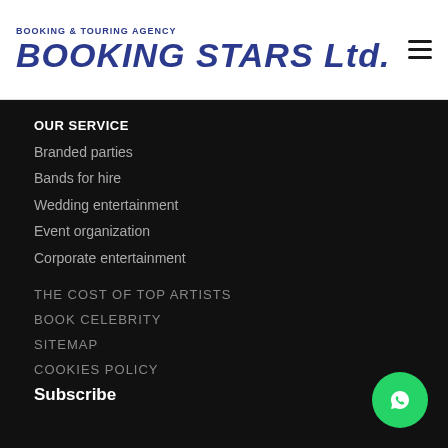BOOKING & TOURING AGENCY BOOKING STARS Ltd.
OUR SERVICE
Branded parties
Bands for hire
Wedding entertainment
Event organization
Corporate entertainment
THE COST OF TOP ARTISTS
BOOK CELEBRITY
SITEMAP
COOKIES POLICY
Subscribe